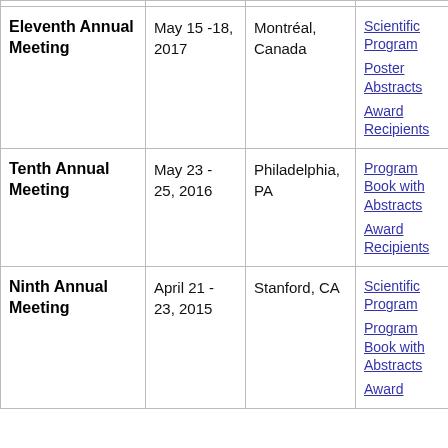| Meeting | Date | Location | Resources |
| --- | --- | --- | --- |
| Eleventh Annual Meeting | May 15 -18, 2017 | Montréal, Canada | Scientific Program
Poster Abstracts
Award Recipients |
| Tenth Annual Meeting | May 23 - 25, 2016 | Philadelphia, PA | Program Book with Abstracts
Award Recipients |
| Ninth Annual Meeting | April 21 - 23, 2015 | Stanford, CA | Scientific Program
Program Book with Abstracts
Award |